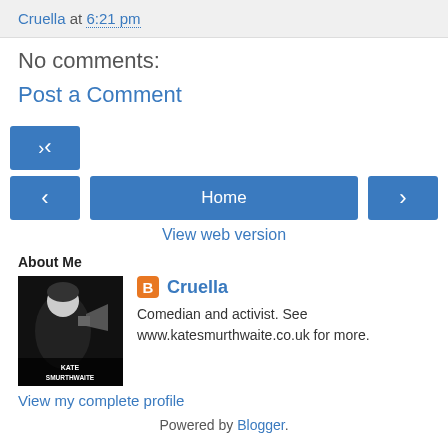Cruella at 6:21 pm
No comments:
Post a Comment
< Home >
View web version
About Me
[Figure (photo): Profile photo of Kate Smurthwaite, black and white illustration with megaphone, text reads KATE SMURTHWAITE]
Cruella
Comedian and activist. See www.katesmurthwaite.co.uk for more.
View my complete profile
Powered by Blogger.